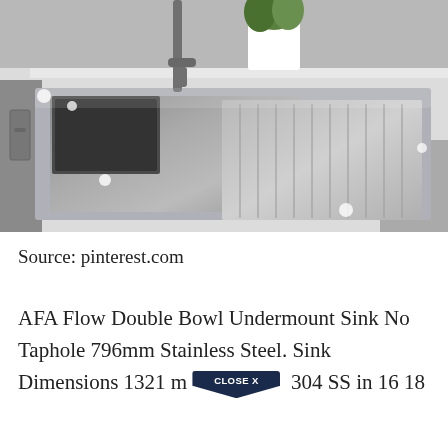[Figure (photo): A stainless steel double bowl undermount kitchen sink installed in a white countertop, with a modern faucet, small black colander/strainer insert in one bowl, ridged drainer on the right side, white cabinet drawers below, and a small potted plant in the background.]
Source: pinterest.com
AFA Flow Double Bowl Undermount Sink No Taphole 796mm Stainless Steel. Sink Dimensions 1321 m... 304 SS in 16 18